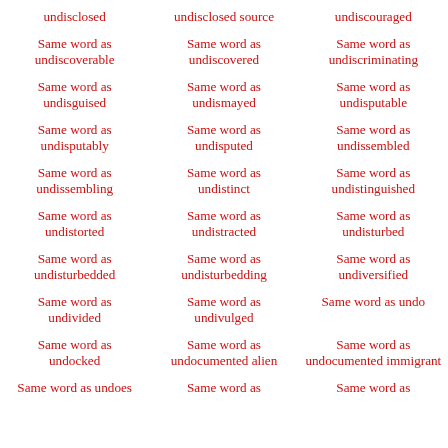undisclosed
undisclosed source
undiscouraged
Same word as undiscoverable
Same word as undiscovered
Same word as undiscriminating
Same word as undisguised
Same word as undismayed
Same word as undisputable
Same word as undisputably
Same word as undisputed
Same word as undissembled
Same word as undissembling
Same word as undistinct
Same word as undistinguished
Same word as undistorted
Same word as undistracted
Same word as undisturbed
Same word as undisturbedded
Same word as undisturbedding
Same word as undiversified
Same word as undivided
Same word as undivulged
Same word as undo
Same word as undocked
Same word as undocumented alien
Same word as undocumented immigrant
Same word as undoes
Same word as
Same word as